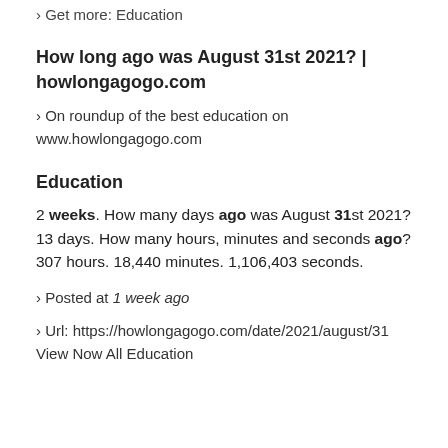› Get more: Education
How long ago was August 31st 2021? | howlongagogo.com
› On roundup of the best education on www.howlongagogo.com
Education
2 weeks. How many days ago was August 31st 2021? 13 days. How many hours, minutes and seconds ago? 307 hours. 18,440 minutes. 1,106,403 seconds.
› Posted at 1 week ago
› Url: https://howlongagogo.com/date/2021/august/31 View Now All Education